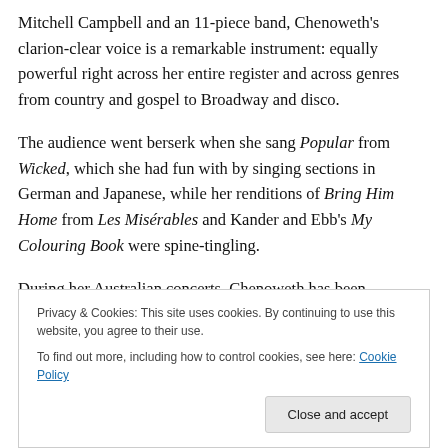Mitchell Campbell and an 11-piece band, Chenoweth's clarion-clear voice is a remarkable instrument: equally powerful right across her entire register and across genres from country and gospel to Broadway and disco.
The audience went berserk when she sang Popular from Wicked, which she had fun with by singing sections in German and Japanese, while her renditions of Bring Him Home from Les Misérables and Kander and Ebb's My Colouring Book were spine-tingling.
During her Australian concerts, Chenoweth has been
Privacy & Cookies: This site uses cookies. By continuing to use this website, you agree to their use.
To find out more, including how to control cookies, see here: Cookie Policy